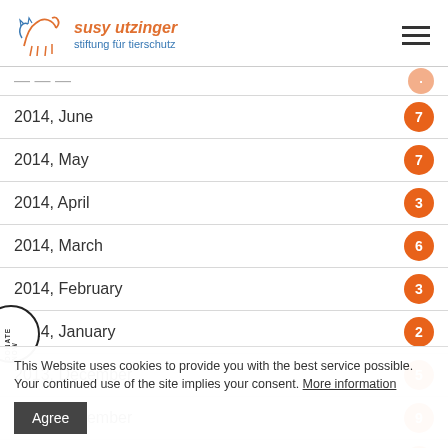susy utzinger stiftung für tierschutz
2014, June — 7
2014, May — 7
2014, April — 3
2014, March — 6
2014, February — 3
2014, January — 2
2013, December — 5
2013, November — 9
2013, October — 3
2013, September — 6
2013, August — 6
This Website uses cookies to provide you with the best service possible. Your continued use of the site implies your consent. More information
Agree